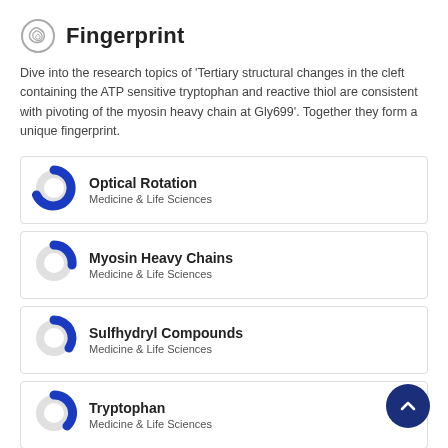Fingerprint
Dive into the research topics of 'Tertiary structural changes in the cleft containing the ATP sensitive tryptophan and reactive thiol are consistent with pivoting of the myosin heavy chain at Gly699'. Together they form a unique fingerprint.
Optical Rotation — Medicine & Life Sciences
Myosin Heavy Chains — Medicine & Life Sciences
Sulfhydryl Compounds — Medicine & Life Sciences
Tryptophan — Medicine & Life Sciences